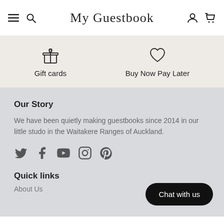My Guestbook — navigation bar with menu, search, logo, account, cart icons
Gift cards
Buy Now Pay Later
Our Story
We have been quietly making guestbooks since 2014 in our little studo in the Waitakere Ranges of Auckland.
[Figure (infographic): Social media icons: Twitter, Facebook, YouTube, Instagram, Pinterest]
Quick links
About Us
Chat with us